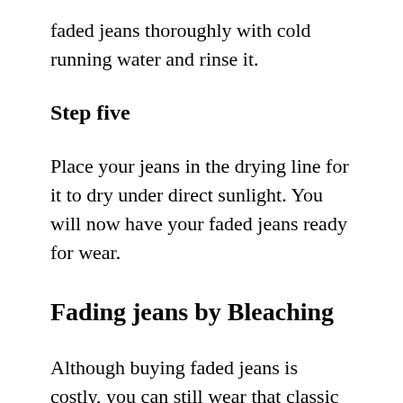faded jeans thoroughly with cold running water and rinse it.
Step five
Place your jeans in the drying line for it to dry under direct sunlight. You will now have your faded jeans ready for wear.
Fading jeans by Bleaching
Although buying faded jeans is costly, you can still wear that classic faded jeans by upgrading your jeans wardrobe through tried